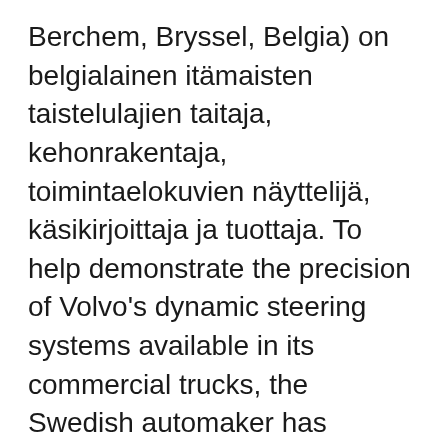Berchem, Bryssel, Belgia) on belgialainen itämaisten taistelulajien taitaja, kehonrakentaja, toimintaelokuvien näyttelijä, käsikirjoittaja ja tuottaja. To help demonstrate the precision of Volvo's dynamic steering systems available in its commercial trucks, the Swedish automaker has enlisted the limber talents of Jean-Claude Van Damme 2013-11-16 · Volvo says Van Damme does have one foot on each truck as the two vehicles slowly back up and get farther apart. Enlarge this image The easy part: Actor Jean-Claude Van Damme before the trucks Jean-Claude Van Damme has made an unusual comeback with a pair of Volvos. More than 40 million people have watched the Muscles from Brussels doing his signature split with two Volvo trucks moving 2013-11-21 · Volvo: 'Epic Split' (starts at 00:06) · internet. To the dulcet